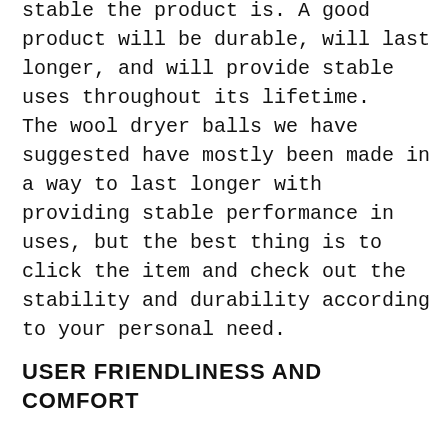stable the product is. A good product will be durable, will last longer, and will provide stable uses throughout its lifetime. The wool dryer balls we have suggested have mostly been made in a way to last longer with providing stable performance in uses, but the best thing is to click the item and check out the stability and durability according to your personal need.
USER FRIENDLINESS AND COMFORT